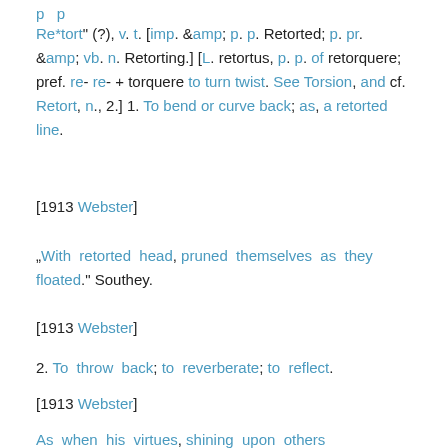Re*tort" (?), v. t. [imp. &amp; p. p. Retorted; p. pr. &amp; vb. n. Retorting.] [L. retortus, p. p. of retorquere; pref. re- re- + torquere to turn twist. See Torsion, and cf. Retort, n., 2.] 1. To bend or curve back; as, a retorted line.
[1913 Webster]
„With retorted head, pruned themselves as they floated." Southey.
[1913 Webster]
2. To throw back; to reverberate; to reflect.
[1913 Webster]
As when his virtues, shining upon others,